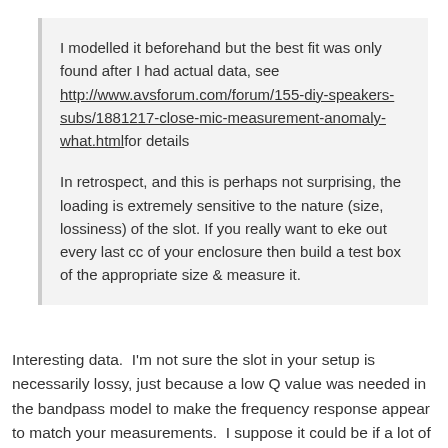I modelled it beforehand but the best fit was only found after I had actual data, see http://www.avsforum.com/forum/155-diy-speakers-subs/1881217-close-mic-measurement-anomaly-what.htmlfor details
In retrospect, and this is perhaps not surprising, the loading is extremely sensitive to the nature (size, lossiness) of the slot. If you really want to eke out every last cc of your enclosure then build a test box of the appropriate size & measure it.
Interesting data.  I'm not sure the slot in your setup is necessarily lossy, just because a low Q value was needed in the bandpass model to make the frequency response appear to match your measurements.  I suppose it could be if a lot of the sound is passing through the walls and/or floor.  That's not too unusual in